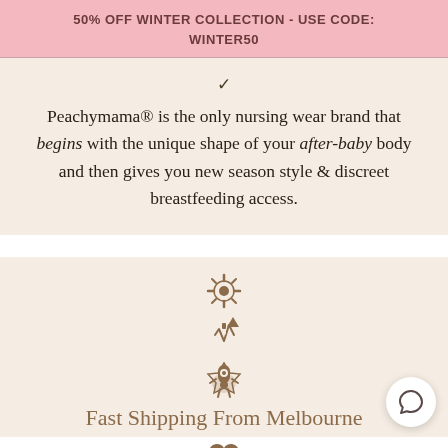50% OFF WINTER COLLECTION - USE CODE: WINTER50
Peachymama® is the only nursing wear brand that begins with the unique shape of your after-baby body and then gives you new season style & discreet breastfeeding access.
Fast Shipping From Melbourne
Super Easy Returns